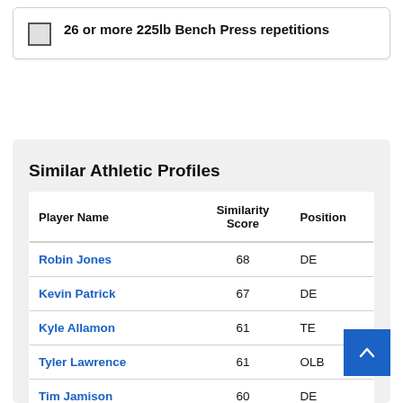26 or more 225lb Bench Press repetitions
Similar Athletic Profiles
| Player Name | Similarity Score | Position |
| --- | --- | --- |
| Robin Jones | 68 | DE |
| Kevin Patrick | 67 | DE |
| Kyle Allamon | 61 | TE |
| Tyler Lawrence | 61 | OLB |
| Tim Jamison | 60 | DE |